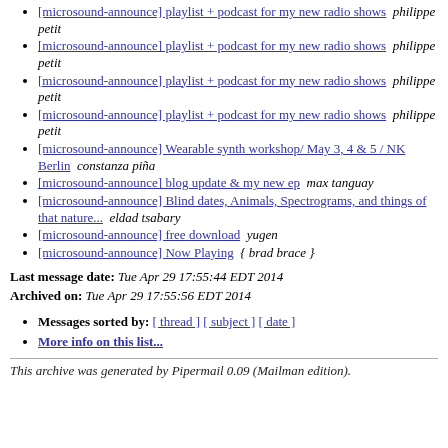[microsound-announce] playlist + podcast for my new radio shows  philippe petit
[microsound-announce] playlist + podcast for my new radio shows  philippe petit
[microsound-announce] playlist + podcast for my new radio shows  philippe petit
[microsound-announce] playlist + podcast for my new radio shows  philippe petit
[microsound-announce] Wearable synth workshop/ May 3, 4 & 5 / NK Berlin  constanza piña
[microsound-announce] blog update & my new ep  max tanguay
[microsound-announce] Blind dates, Animals, Spectrograms, and things of that nature...  eldad tsabary
[microsound-announce] free download  yugen
[microsound-announce] Now Playing  { brad brace }
Last message date: Tue Apr 29 17:55:44 EDT 2014
Archived on: Tue Apr 29 17:55:56 EDT 2014
Messages sorted by: [ thread ] [ subject ] [ date ]
More info on this list...
This archive was generated by Pipermail 0.09 (Mailman edition).